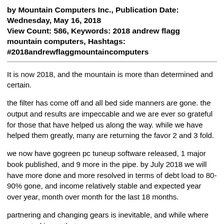by Mountain Computers Inc., Publication Date: Wednesday, May 16, 2018
View Count: 586, Keywords: 2018 andrew flagg mountain computers, Hashtags: #2018andrewflaggmountaincomputers
It is now 2018, and the mountain is more than determined and certain.
the filter has come off and all bed side manners are gone. the output and results are impeccable and we are ever so grateful for those that have helped us along the way. while we have helped them greatly, many are returning the favor 2 and 3 fold.
we now have gogreen pc tuneup software released, 1 major book published, and 9 more in the pipe. by July 2018 we will have more done and more resolved in terms of debt load to 80-90% gone, and income relatively stable and expected year over year, month over month for the last 18 months.
partnering and changing gears is inevitable, and while where we started is not that